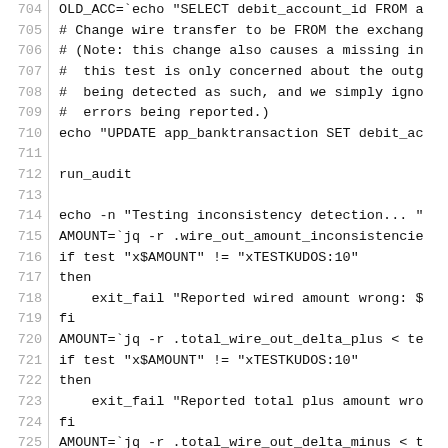[Figure (screenshot): Code editor view showing shell script lines 704-733, with line numbers in gray on left, a vertical separator, and monospace code text on the right. Content includes SQL echo statements, run_audit call, inconsistency detection logic with jq, if/then/fi blocks, and exit_fail calls.]